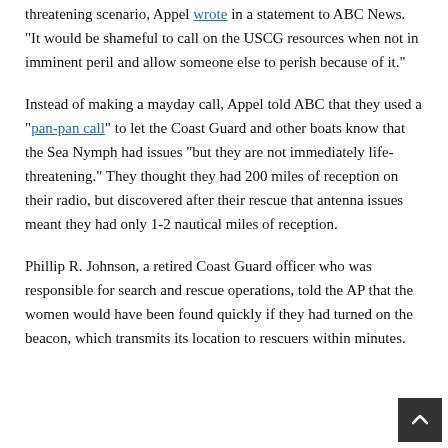threatening scenario, Appel wrote in a statement to ABC News. “It would be shameful to call on the USCG resources when not in imminent peril and allow someone else to perish because of it.”
Instead of making a mayday call, Appel told ABC that they used a “pan-pan call” to let the Coast Guard and other boats know that the Sea Nymph had issues “but they are not immediately life-threatening.” They thought they had 200 miles of reception on their radio, but discovered after their rescue that antenna issues meant they had only 1-2 nautical miles of reception.
Phillip R. Johnson, a retired Coast Guard officer who was responsible for search and rescue operations, told the AP that the women would have been found quickly if they had turned on the beacon, which transmits its location to rescuers within minutes.